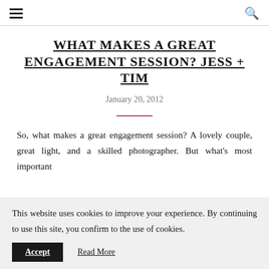☰  🔍
WHAT MAKES A GREAT ENGAGEMENT SESSION? JESS + TIM
January 20, 2012
So, what makes a great engagement session? A lovely couple, great light, and a skilled photographer. But what's most important
This website uses cookies to improve your experience. By continuing to use this site, you confirm to the use of cookies. Accept  Read More